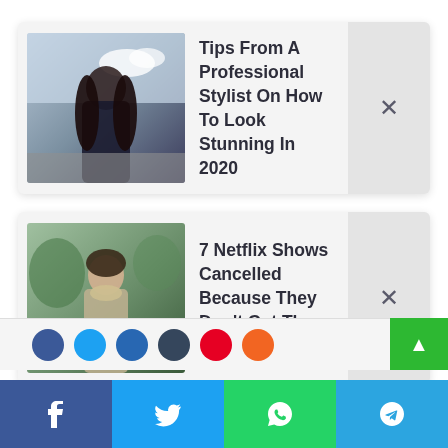[Figure (photo): Article card with portrait photo of woman with long dark hair outdoors, title: Tips From A Professional Stylist On How To Look Stunning In 2020]
Tips From A Professional Stylist On How To Look Stunning In 2020
[Figure (photo): Article card with photo of young person with short hair outdoors, title: 7 Netflix Shows Cancelled Because They Don't Get The Ratings]
7 Netflix Shows Cancelled Because They Don't Get The Ratings
[Figure (screenshot): Row of circular social share icon buttons: Facebook, Twitter, LinkedIn, Tumblr, Pinterest, WhatsApp/Orange]
[Figure (screenshot): Four social share buttons at bottom: Facebook (blue), Twitter (light blue), WhatsApp (green), Telegram (teal)]